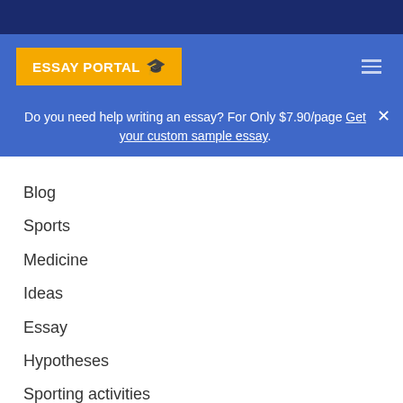[Figure (logo): Essay Portal logo with graduation cap icon on yellow background]
Do you need help writing an essay? For Only $7.90/page Get your custom sample essay.
Blog
Sports
Medicine
Ideas
Essay
Hypotheses
Sporting activities
Philosophy
Information technology
History
Skill
Music artists
Industry
Record